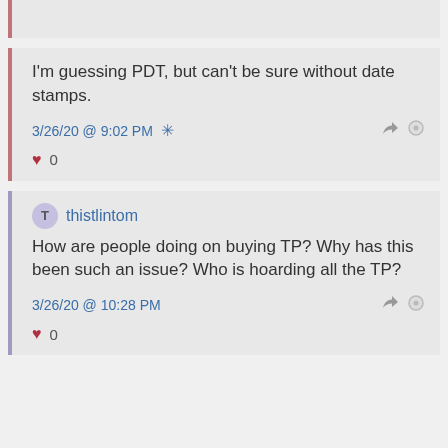I'm guessing PDT, but can't be sure without date stamps.
3/26/20 @ 9:02 PM
0
thistlintom
How are people doing on buying TP?  Why has this been such an issue?  Who is hoarding all the TP?
3/26/20 @ 10:28 PM
0